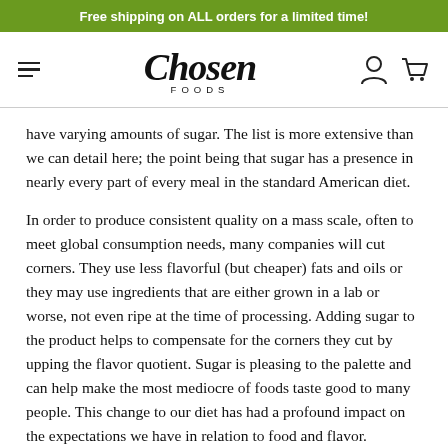Free shipping on ALL orders for a limited time!
[Figure (logo): Chosen Foods logo with hamburger menu, person icon, and cart icon in navigation bar]
have varying amounts of sugar.  The list is more extensive than we can detail here; the point being that sugar has a presence in nearly every part of every meal in the standard American diet.
In order to produce consistent quality on a mass scale, often to meet global consumption needs, many companies will cut corners.  They use less flavorful (but cheaper) fats and oils or they may use ingredients that are either grown in a lab or worse, not even ripe at the time of processing.  Adding sugar to the product helps to compensate for the corners they cut by upping the flavor quotient.  Sugar is pleasing to the palette and can help make the most mediocre of foods taste good to many people.  This change to our diet has had a profound impact on the expectations we have in relation to food and flavor.